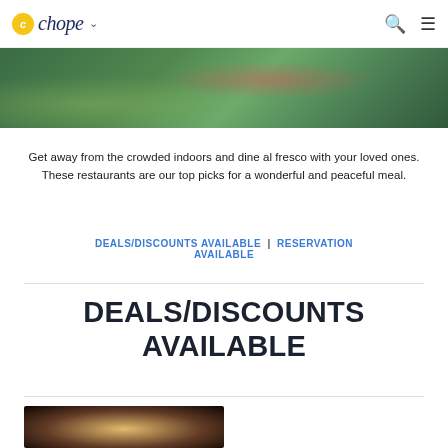Chope
[Figure (photo): Outdoor garden/greenery photo with plants and flowers, top portion visible]
Get away from the crowded indoors and dine al fresco with your loved ones. These restaurants are our top picks for a wonderful and peaceful meal.
DEALS/DISCOUNTS AVAILABLE | RESERVATION AVAILABLE
DEALS/DISCOUNTS AVAILABLE
[Figure (photo): Restaurant interior photo with warm lighting, bottom strip]